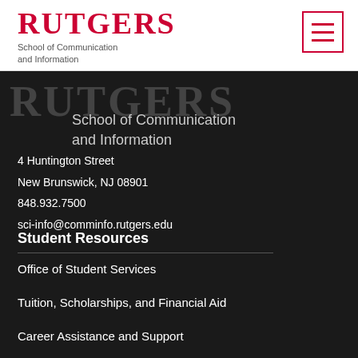[Figure (logo): Rutgers University logo with red text and School of Communication and Information subtitle, white background header bar with hamburger menu icon in top right]
[Figure (logo): Rutgers watermark in dark background with School of Communication and Information in gray text]
4 Huntington Street
New Brunswick, NJ 08901
848.932.7500
sci-info@comminfo.rutgers.edu
Student Resources
Office of Student Services
Tuition, Scholarships, and Financial Aid
Career Assistance and Support